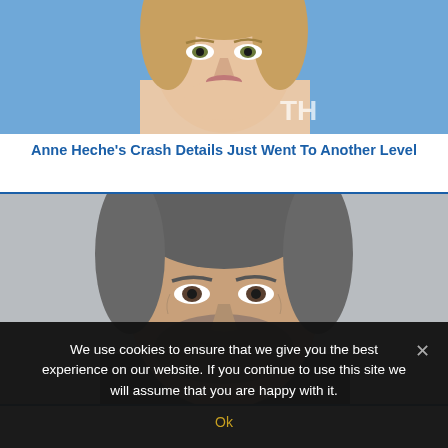[Figure (photo): Close-up photo of a blonde woman (Anne Heche) against a blue background with 'TH' watermark visible]
Anne Heche's Crash Details Just Went To Another Level
[Figure (photo): Close-up photo of a grey-haired man with stubble against a grey background]
We use cookies to ensure that we give you the best experience on our website. If you continue to use this site we will assume that you are happy with it.
Ok